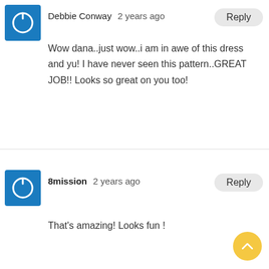[Figure (illustration): Blue square avatar with white power/circle icon, for user Debbie Conway]
Debbie Conway  2 years ago
Reply
Wow dana..just wow..i am in awe of this dress and yu! I have never seen this pattern..GREAT JOB!! Looks so great on you too!
[Figure (illustration): Blue square avatar with white power/circle icon, for user 8mission]
8mission  2 years ago
Reply
That's amazing! Looks fun !